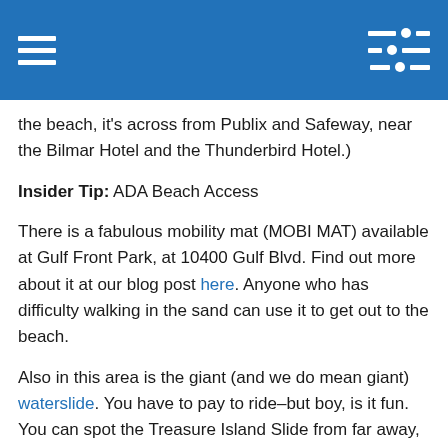Navigation bar with hamburger menu and settings icon
the beach, it's across from Publix and Safeway, near the Bilmar Hotel and the Thunderbird Hotel.)
Insider Tip: ADA Beach Access
There is a fabulous mobility mat (MOBI MAT) available at Gulf Front Park, at 10400 Gulf Blvd. Find out more about it at our blog post here. Anyone who has difficulty walking in the sand can use it to get out to the beach.
Also in this area is the giant (and we do mean giant) waterslide. You have to pay to ride–but boy, is it fun. You can spot the Treasure Island Slide from far away, so just keep walking in its direction!